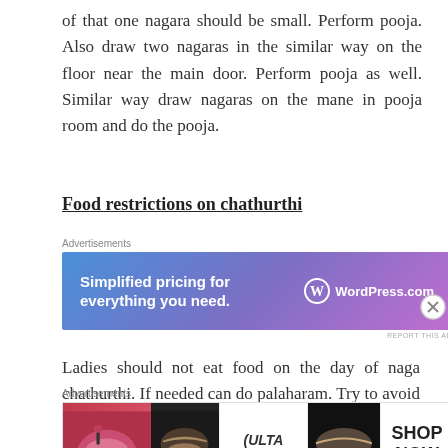of that one nagara should be small. Perform pooja. Also draw two nagaras in the similar way on the floor near the main door. Perform pooja as well. Similar way draw nagaras on the mane in pooja room and do the pooja.
Food restrictions on chathurthi
[Figure (other): WordPress.com advertisement banner: 'Simplified pricing for everything you need.' with WordPress.com logo on gradient blue-purple background]
Ladies should not eat food on the day of naga chathurthi. If needed can do palaharam. Try to avoid food during night or take some mild ahaara. few people follow the palahara without salt. Few items that can be consumed as
[Figure (other): Ulta Beauty advertisement banner with makeup product photos and 'SHOP NOW' button]